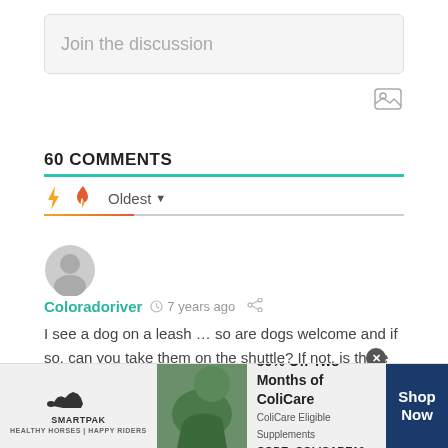Join the discussion
60 COMMENTS
Oldest
[Figure (illustration): User avatar circle icon (gray silhouette)]
Coloradoriver  7 years ago
I see a dog on a leash … so are dogs welcome and if so, can you take them on the shuttle? If not, is there an alternative way to get to the event with best friend in
[Figure (infographic): SmartPak advertisement: 50% Off Two Months of ColiCare, ColiCare Eligible Supplements CODE: COLICARE10. Shop Now button.]